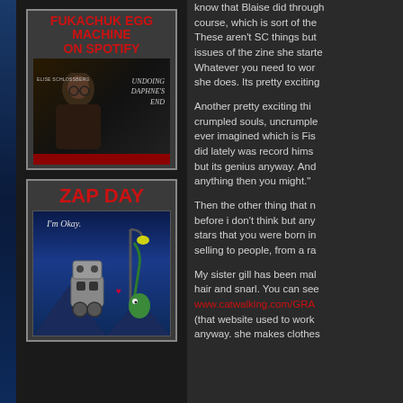[Figure (illustration): Fukachuk Egg Machine on Spotify promotional image showing album cover with person holding something, text 'UNDOING DAPHNE'S END']
[Figure (illustration): Zap Day promotional image showing cartoon robot character with text 'I'm Okay.' and a green creature with a lamp post]
know that Blaise did through course, which is sort of the These aren't SC things but issues of the zine she starte Whatever you need to wor she does. Its pretty exciting
Another pretty exciting thi crumpled souls, uncrumple ever imagined which is Fis did lately was record hims but its genius anyway. An anything then you might."
Then the other thing that n before i don't think but an stars that you were born in selling to people, from a ra
My sister gill has been ma hair and snarl. You can se www.catwalking.com/GRA (that website used to work anyway. she makes clothes